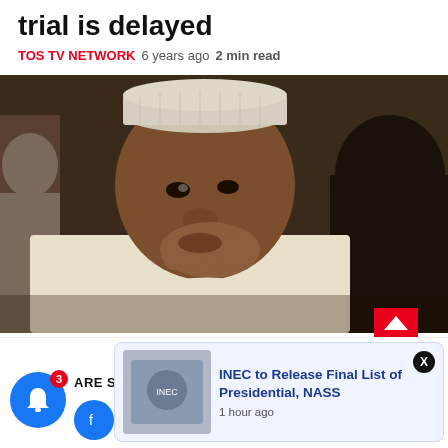trial is delayed
TOS TV NETWORK  6 years ago  2 min read
[Figure (photo): Man wearing white traditional Nigerian cap and white attire, resting his chin on his hand in a thoughtful pose, surrounded by other people in the background.]
RELATED STORY
[Figure (photo): Thumbnail of INEC (Independent National Electoral Commission) logo/document]
INEC to Release Final List of Presidential, NASS  1 hour ago